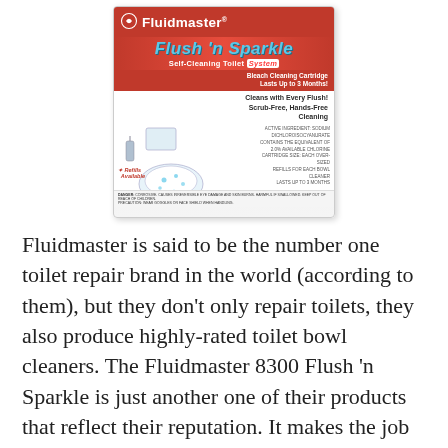[Figure (photo): Product box image of Fluidmaster Flush 'n Sparkle Self-Cleaning Toilet System with Bleach Cleaning Cartridge. Red branded packaging showing toilet bowl and product details.]
Fluidmaster is said to be the number one toilet repair brand in the world (according to them), but they don't only repair toilets, they also produce highly-rated toilet bowl cleaners. The Fluidmaster 8300 Flush 'n Sparkle is just another one of their products that reflect their reputation. It makes the job